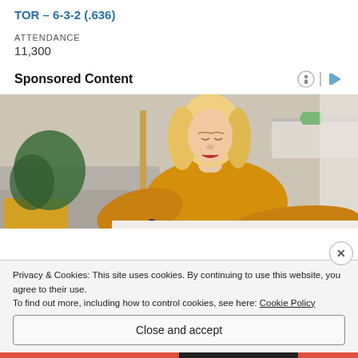TOR – 6-3-2 (.636)
ATTENDANCE
11,300
Sponsored Content
[Figure (photo): Woman with blonde hair wearing a yellow knit sweater, looking downward at something, seated near a grey couch with plants in the background.]
Privacy & Cookies: This site uses cookies. By continuing to use this website, you agree to their use.
To find out more, including how to control cookies, see here: Cookie Policy
Close and accept